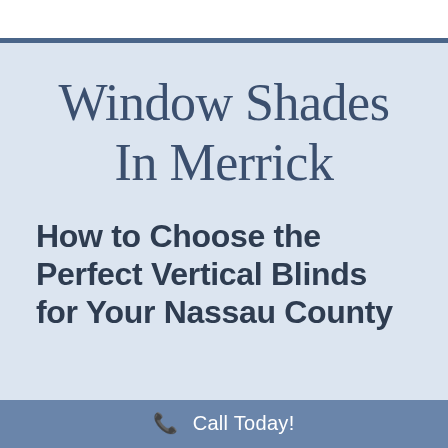Window Shades In Merrick
How to Choose the Perfect Vertical Blinds for Your Nassau County
Call Today!